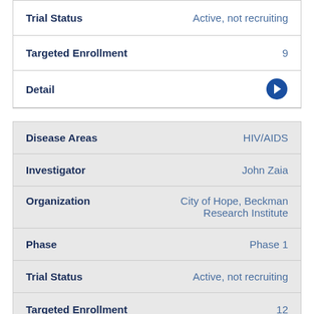| Field | Value |
| --- | --- |
| Trial Status | Active, not recruiting |
| Targeted Enrollment | 9 |
| Detail | → |
| Field | Value |
| --- | --- |
| Disease Areas | HIV/AIDS |
| Investigator | John Zaia |
| Organization | City of Hope, Beckman Research Institute |
| Phase | Phase 1 |
| Trial Status | Active, not recruiting |
| Targeted Enrollment | 12 |